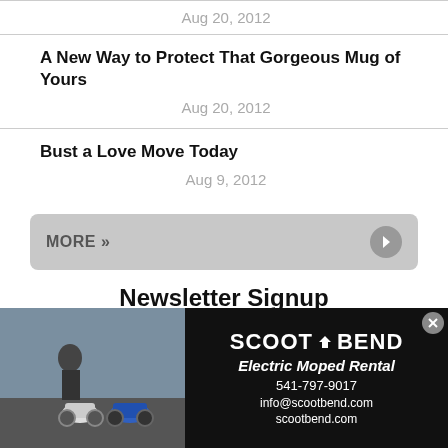Aug 20, 2012
A New Way to Protect That Gorgeous Mug of Yours
Aug 20, 2012
Bust a Love Move Today
Aug 9, 2012
MORE »
Newsletter Signup
[Figure (photo): Advertisement for Scoot Bend Electric Moped Rental showing two mopeds and a person, with contact info: 541-797-9017, info@scootbend.com, scootbend.com]